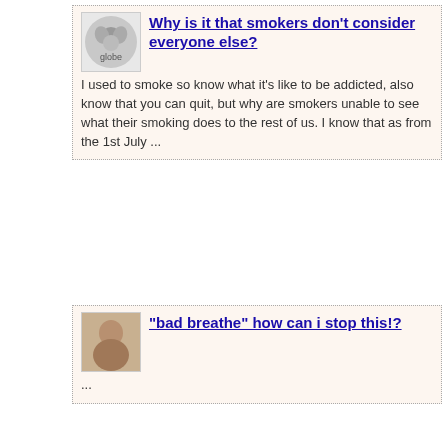[Figure (other): Forum question card with avatar: Why is it that smokers don't consider everyone else?]
I used to smoke so know what it's like to be addicted, also know that you can quit, but why are smokers unable to see what their smoking does to the rest of us. I know that as from the 1st July ...
[Figure (other): Forum question card with avatar: "bad breathe" how can i stop this!?]
...
[Figure (other): Forum question card with avatar: What does it mean when you run out of breath fast?]
my boyfriend runs out of breath very fast and im just curious what could be causing it to happen? it gets so bad he feels like he cant catch his breath like hes gasping for air, its really concerning ...
[Figure (other): Forum question card with avatar: What is the most effective form of torture, using items found in the ...]